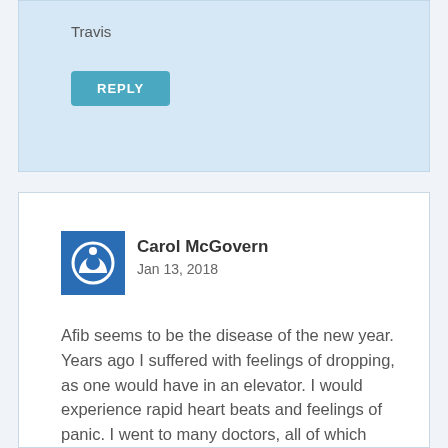Travis
REPLY
Carol McGovern
Jan 13, 2018
Afib seems to be the disease of the new year. Years ago I suffered with feelings of dropping, as one would have in an elevator. I would experience rapid heart beats and feelings of panic. I went to many doctors, all of which treated my complaints as a problem of nervous anxiety.